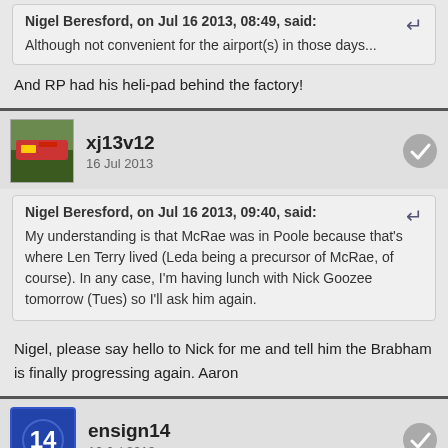Nigel Beresford, on Jul 16 2013, 08:49, said: Although not convenient for the airport(s) in those days...
And RP had his heli-pad behind the factory!
xj13v12
16 Jul 2013
Nigel Beresford, on Jul 16 2013, 09:40, said: My understanding is that McRae was in Poole because that's where Len Terry lived (Leda being a precursor of McRae, of course). In any case, I'm having lunch with Nick Goozee tomorrow (Tues) so I'll ask him again.
Nigel, please say hello to Nick for me and tell him the Brabham is finally progressing again. Aaron
ensign14
16 Jul 2013
It's quite far south, Poole. So maybe it made Cassius feel more at